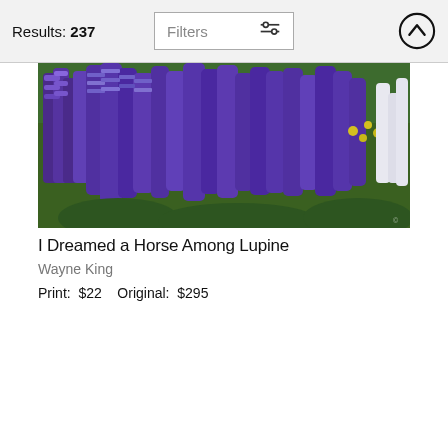Results: 237
[Figure (screenshot): Filters button with sliders icon and up-arrow circle button in header bar]
[Figure (photo): Photograph of purple lupine flowers in a field, wide landscape crop]
I Dreamed a Horse Among Lupine
Wayne King
Print:  $22    Original:  $295